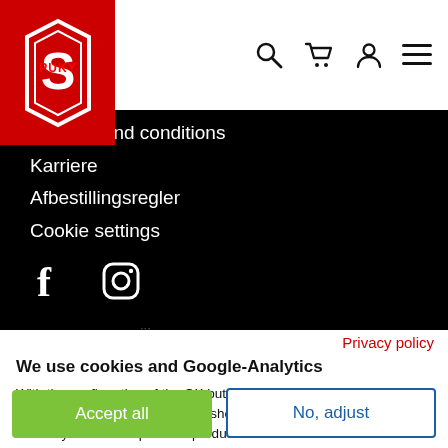[Figure (logo): PUKY logo — red octagon shape with white outline and PUKY text inside]
[Figure (infographic): Navigation bar icons: search (magnifying glass), cart, user/account, hamburger menu]
al terms and conditions
Karriere
Afbestillingsregler
Cookie settings
[Figure (infographic): Facebook and Instagram social media icons in white on black background]
Privacy policy
We use cookies and Google-Analytics
With the confirmation of the OK button you allow us to set cookies. These are used to improve your shopping experience on our site and to offer you the best possible products.
Accept all
No, adjust